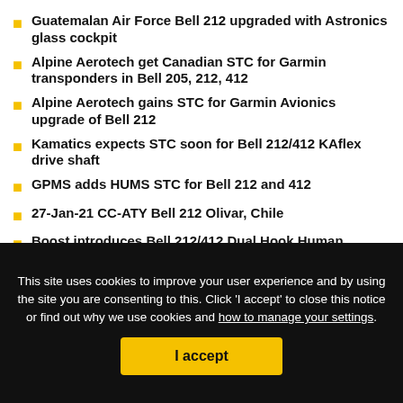Guatemalan Air Force Bell 212 upgraded with Astronics glass cockpit
Alpine Aerotech get Canadian STC for Garmin transponders in Bell 205, 212, 412
Alpine Aerotech gains STC for Garmin Avionics upgrade of Bell 212
Kamatics expects STC soon for Bell 212/412 KAflex drive shaft
GPMS adds HUMS STC for Bell 212 and 412
27-Jan-21 CC-ATY Bell 212 Olivar, Chile
Boost introduces Bell 212/412 Dual Hook Human External Cargo System
04-Nov-20 ARC223 Bell UH-1N Guaymaral, Columbia
Astronics Max-Viz 2300 Enhanced Vision System Receives Amended STC for Bell
10-Aug-20 (serial tba) Bell UH-1N Middleburg, US-
This site uses cookies to improve your user experience and by using the site you are consenting to this. Click 'I accept' to close this notice or find out why we use cookies and how to manage your settings.